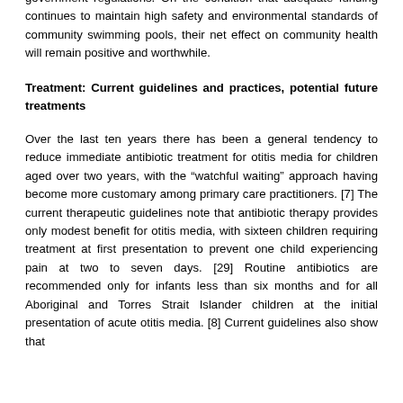government regulations. On the condition that adequate funding continues to maintain high safety and environmental standards of community swimming pools, their net effect on community health will remain positive and worthwhile.
Treatment: Current guidelines and practices, potential future treatments
Over the last ten years there has been a general tendency to reduce immediate antibiotic treatment for otitis media for children aged over two years, with the “watchful waiting” approach having become more customary among primary care practitioners. [7] The current therapeutic guidelines note that antibiotic therapy provides only modest benefit for otitis media, with sixteen children requiring treatment at first presentation to prevent one child experiencing pain at two to seven days. [29] Routine antibiotics are recommended only for infants less than six months and for all Aboriginal and Torres Strait Islander children at the initial presentation of acute otitis media. [8] Current guidelines also show that